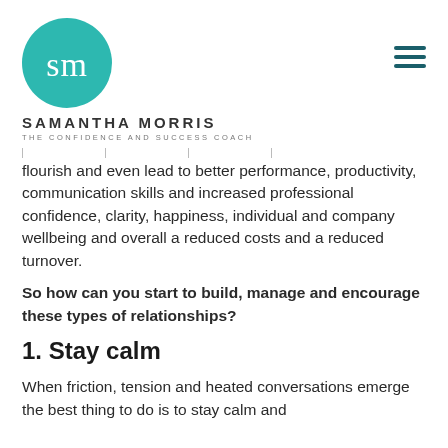[Figure (logo): Samantha Morris logo: teal circle with cursive SM initials, brand name SAMANTHA MORRIS, subtitle THE CONFIDENCE AND SUCCESS COACH]
flourish and even lead to better performance, productivity, communication skills and increased professional confidence, clarity, happiness, individual and company wellbeing and overall a reduced costs and a reduced turnover.
So how can you start to build, manage and encourage these types of relationships?
1. Stay calm
When friction, tension and heated conversations emerge the best thing to do is to stay calm and